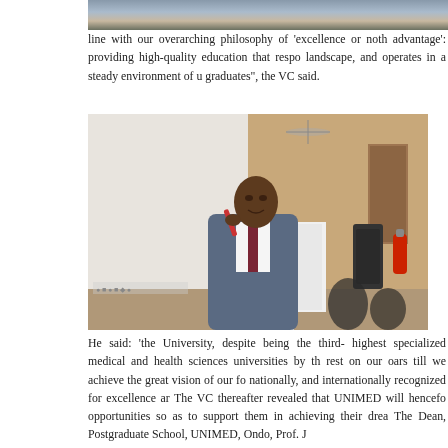[Figure (photo): Top portion of a group photo showing people standing, partially cropped]
line with our overarching philosophy of ‘excellence or noth advantage’: providing high-quality education that respo landscape, and operates in a steady environment of u graduates”, the VC said.
[Figure (photo): A man in a blue suit speaking at a podium with a red microphone during a university event]
He said: ‘the University, despite being the third- highest specialized medical and health sciences universities by th rest on our oars till we achieve the great vision of our fo nationally, and internationally recognized for excellence ar The VC thereafter revealed that UNIMED will hencefo opportunities so as to support them in achieving their drea The Dean, Postgraduate School, UNIMED, Ondo, Prof. J